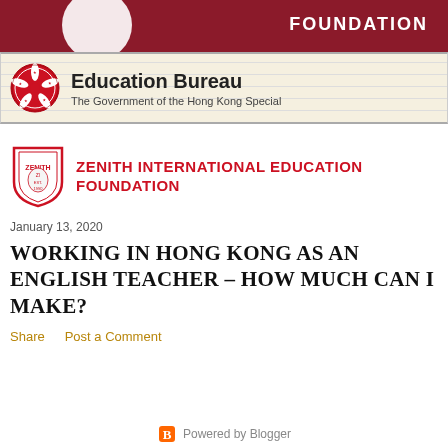[Figure (logo): Dark red banner with partial logo/text at top of page]
[Figure (logo): Education Bureau logo with Hong Kong bauhinia emblem and text: Education Bureau, The Government of the Hong Kong Special]
[Figure (logo): Zenith International Education Foundation shield logo with red text: ZENITH INTERNATIONAL EDUCATION FOUNDATION]
January 13, 2020
WORKING IN HONG KONG AS AN ENGLISH TEACHER – HOW MUCH CAN I MAKE?
Share    Post a Comment
Powered by Blogger